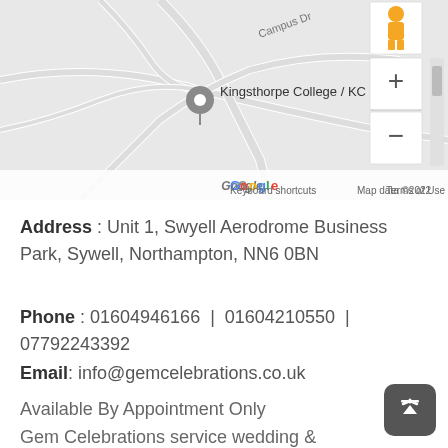[Figure (map): Google Maps screenshot showing Kingsthorpe College / KC location with zoom controls and pegman icon. Map data ©2022. Shows roads including Campus Dr. Google logo and map controls visible.]
Address : Unit 1, Swyell Aerodrome Business Park, Sywell, Northampton, NN6 0BN
Phone : 01604946166  |  01604210550  |  07792243392
Email: info@gemcelebrations.co.uk
Available By Appointment Only
Gem Celebrations service wedding & events in Northampton and surrounding areas. Normally within a 2